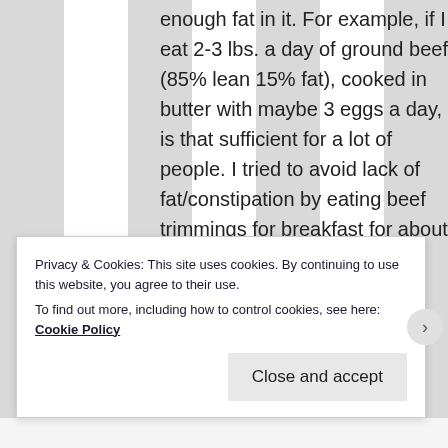enough fat in it. For example, if I eat 2-3 lbs. a day of ground beef (85% lean 15% fat), cooked in butter with maybe 3 eggs a day, is that sufficient for a lot of people. I tried to avoid lack of fat/constipation by eating beef trimmings for breakfast for about
Privacy & Cookies: This site uses cookies. By continuing to use this website, you agree to their use.
To find out more, including how to control cookies, see here: Cookie Policy